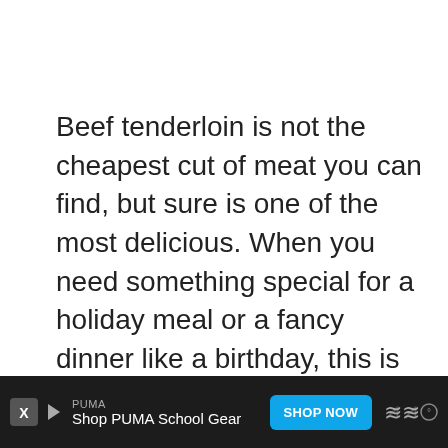Beef tenderloin is not the cheapest cut of meat you can find, but sure is one of the most delicious. When you need something special for a holiday meal or a fancy dinner like a birthday, this is one dish to turn to. It isn't difficult to make and requires less than an hour and a half from start to finish.
The dairy-free cream sauce can be made ahead of time (and if necessary you could
[Figure (other): Advertisement bar at bottom: PUMA Shop PUMA School Gear with SHOP NOW button]